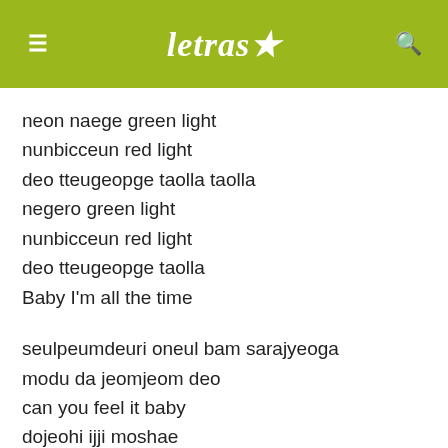letras
neon naege green light
nunbicceun red light
deo tteugeopge taolla taolla
negero green light
nunbicceun red light
deo tteugeopge taolla
Baby I'm all the time
seulpeumdeuri oneul bam sarajyeoga
modu da jeomjeom deo
can you feel it baby
dojeohi ijji moshae
uri gwedoe naman mitgo ta